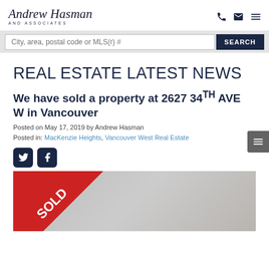Andrew Hasman AND ASSOCIATES
City, area, postal code or MLS(r) #
REAL ESTATE LATEST NEWS
We have sold a property at 2627 34TH AVE W in Vancouver
Posted on May 17, 2019 by Andrew Hasman
Posted in: MacKenzie Heights, Vancouver West Real Estate
[Figure (photo): Property listing photo with red SOLD ribbon banner in top-left corner]